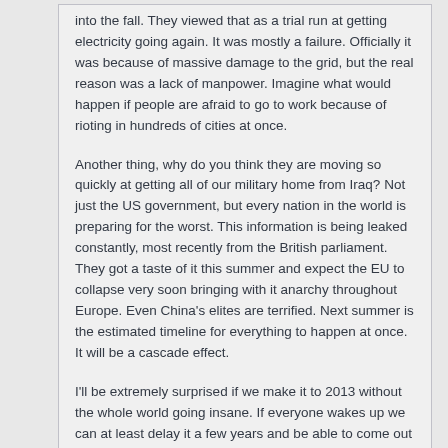into the fall. They viewed that as a trial run at getting electricity going again. It was mostly a failure. Officially it was because of massive damage to the grid, but the real reason was a lack of manpower. Imagine what would happen if people are afraid to go to work because of rioting in hundreds of cities at once.
Another thing, why do you think they are moving so quickly at getting all of our military home from Iraq? Not just the US government, but every nation in the world is preparing for the worst. This information is being leaked constantly, most recently from the British parliament. They got a taste of it this summer and expect the EU to collapse very soon bringing with it anarchy throughout Europe. Even China's elites are terrified. Next summer is the estimated timeline for everything to happen at once. It will be a cascade effect.
I'll be extremely surprised if we make it to 2013 without the whole world going insane. If everyone wakes up we can at least delay it a few years and be able to come out in not so bad a shape. The best case scenario is we do a gradual winding down of the way of life we're used to and adapt to not having as much.